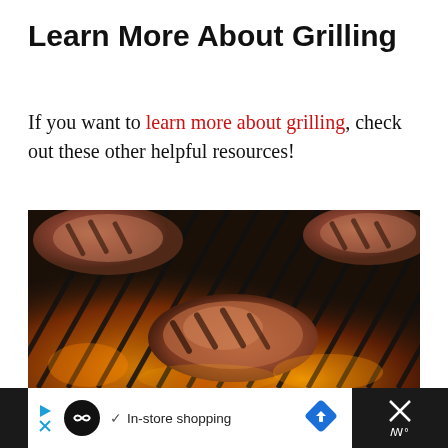Learn More About Grilling
If you want to learn more about grilling, check out these other helpful resources!
[Figure (photo): Close-up photo of meat cuts on a barbecue grill with flames visible beneath the grill grates]
In-store shopping